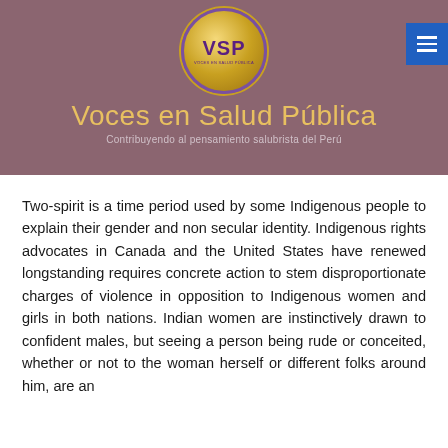[Figure (logo): VSP circular logo with gold background and purple border, text reads VSP and VOCES EN SALUD PÚBLICA]
Voces en Salud Pública
Contribuyendo al pensamiento salubrista del Perú
Two-spirit is a time period used by some Indigenous people to explain their gender and non secular identity. Indigenous rights advocates in Canada and the United States have renewed longstanding requires concrete action to stem disproportionate charges of violence in opposition to Indigenous women and girls in both nations. Indian women are instinctively drawn to confident males, but seeing a person being rude or conceited, whether or not to the woman herself or different folks around him, are an